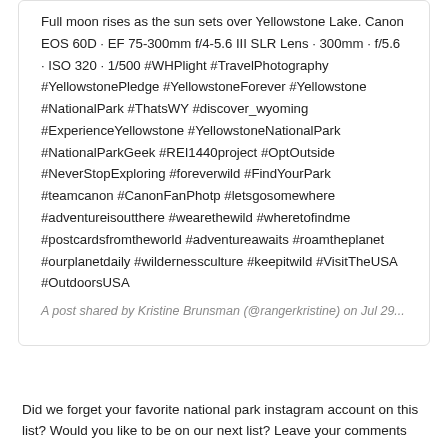Full moon rises as the sun sets over Yellowstone Lake. Canon EOS 60D · EF 75-300mm f/4-5.6 III SLR Lens · 300mm · f/5.6 · ISO 320 · 1/500 #WHPlight #TravelPhotography #YellowstonePledge #YellowstoneForever #Yellowstone #NationalPark #ThatsWY #discover_wyoming #ExperienceYellowstone #YellowstoneNationalPark #NationalParkGeek #REI1440project #OptOutside #NeverStopExploring #foreverwild #FindYourPark #teamcanon #CanonFanPhotp #letsgosomewhere #adventureisoutthere #wearethewild #wheretofindme #postcardsfromtheworld #adventureawaits #roamtheplanet #ourplanetdaily #wildernessculture #keepitwild #VisitTheUSA #OutdoorsUSA
A post shared by Kristine Brunsman (@rangerkristine) on Jul 29...
Did we forget your favorite national park instagram account on this list? Would you like to be on our next list? Leave your comments